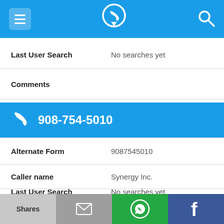908-754-5010 phone lookup app header
Last User Search: No searches yet
Comments
908-754-5010
Alternate Form: 9087545010
Caller name: Synergy Inc.
Last User Search: No searches yet
Shares | email | WhatsApp | Facebook